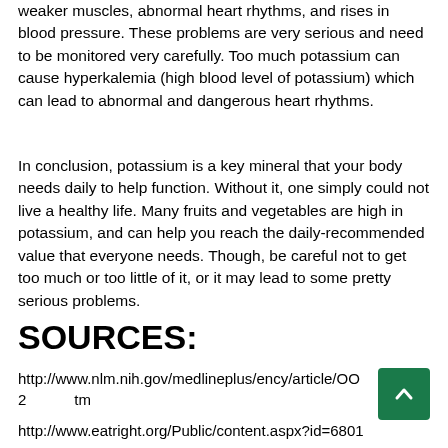weaker muscles, abnormal heart rhythms, and rises in blood pressure. These problems are very serious and need to be monitored very carefully. Too much potassium can cause hyperkalemia (high blood level of potassium) which can lead to abnormal and dangerous heart rhythms.
In conclusion, potassium is a key mineral that your body needs daily to help function. Without it, one simply could not live a healthy life. Many fruits and vegetables are high in potassium, and can help you reach the daily-recommended value that everyone needs. Though, be careful not to get too much or too little of it, or it may lead to some pretty serious problems.
SOURCES:
http://www.nlm.nih.gov/medlineplus/ency/article/OO2...tm
http://www.eatright.org/Public/content.aspx?id=6801